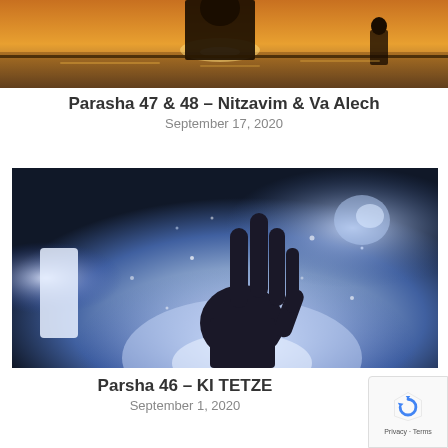[Figure (photo): Silhouette of a person against a golden sunset over water]
Parasha 47 & 48 – Nitzavim & Va Alech
September 17, 2020
[Figure (photo): A hand reaching up toward a bright glowing light against a dark background with sparkles]
Parsha 46 – KI TETZE
September 1, 2020